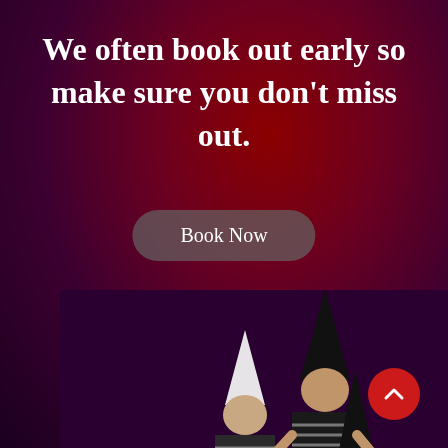We often book out early so make sure you don't miss out.
Book Now
[Figure (photo): Two performers wearing tall cone-shaped hats — one white, one black — sitting with white and black geometric cone sculptures against a dark background]
[Figure (other): Red circular scroll-up button with a white chevron/arrow pointing upward]